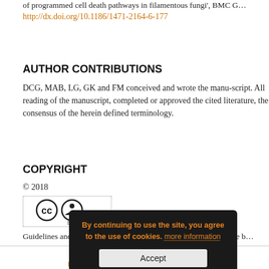of programmed cell death pathways in filamentous fungi', BMC G… http://dx.doi.org/10.1186/1471-2164-6-177
AUTHOR CONTRIBUTIONS
DCG, MAB, LG, GK and FM conceived and wrote the manu-script. All reading of the manuscript, completed or approved the cited literature, the consensus of the herein defined terminology.
COPYRIGHT
© 2018
[Figure (logo): Creative Commons BY license badge]
Guidelines and recommendations on yeast cell death nomenclature b… under a Creative Commons Attribution 4.0 International License.
By continuing to use the site, you agree to the use of cookies. more information
Accept
Copyright © 2022 by Shared Science P… · Legal Notice · Privacy Statement · Terms of…